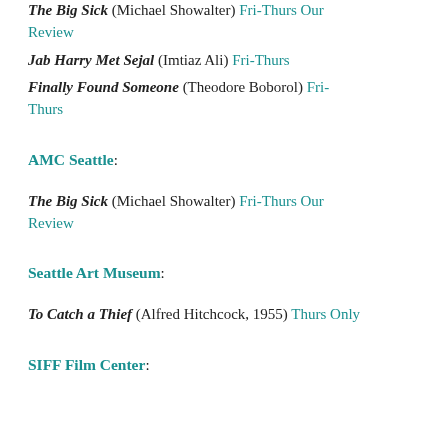The Big Sick (Michael Showalter) Fri-Thurs Our Review
Jab Harry Met Sejal (Imtiaz Ali) Fri-Thurs
Finally Found Someone (Theodore Boborol) Fri-Thurs
AMC Seattle:
The Big Sick (Michael Showalter) Fri-Thurs Our Review
Seattle Art Museum:
To Catch a Thief (Alfred Hitchcock, 1955) Thurs Only
SIFF Film Center: